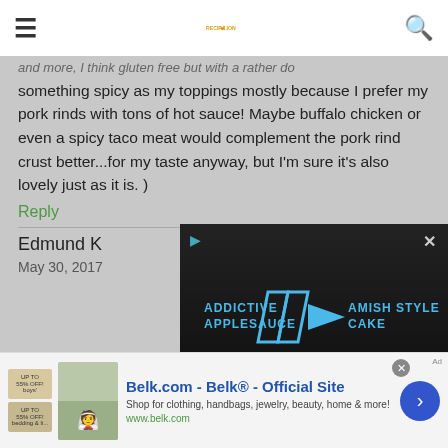RECIPE LION
and more, I think gluten free but with a rather do something spicy as my toppings mostly because I prefer my pork rinds with tons of hot sauce! Maybe buffalo chicken or even a spicy taco meat would complement the pork rind crust better...for my taste anyway, but I'm sure it's also lovely just as it is. )
Reply
Edmund K
May 30, 2017
[Figure (screenshot): Video player overlay showing 'Addictive Amish Style Applesauce Cake' with blue play button icon, mute button, and close button on dark background]
Belk.com - Belk® - Official Site Shop for clothing, handbags, jewelry, beauty, home & more! www.belk.com